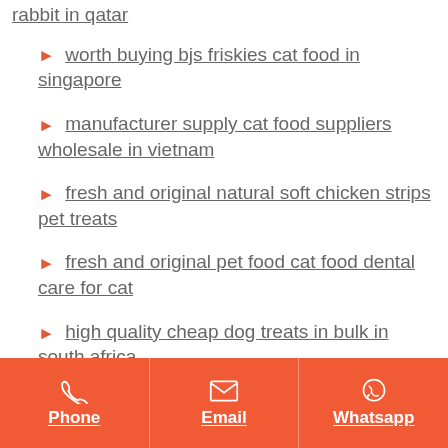rabbit in qatar
worth buying bjs friskies cat food in singapore
manufacturer supply cat food suppliers wholesale in vietnam
fresh and original natural soft chicken strips pet treats
fresh and original pet food cat food dental care for cat
high quality cheap dog treats in bulk in south africa
looking for adult dog food with lamb meat rice
Phone | Email | Whatsapp